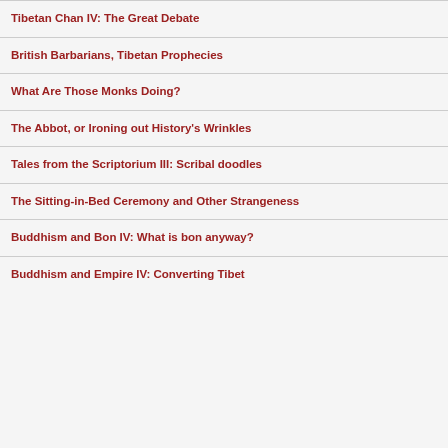Tibetan Chan IV: The Great Debate
British Barbarians, Tibetan Prophecies
What Are Those Monks Doing?
The Abbot, or Ironing out History's Wrinkles
Tales from the Scriptorium III: Scribal doodles
The Sitting-in-Bed Ceremony and Other Strangeness
Buddhism and Bon IV: What is bon anyway?
Buddhism and Empire IV: Converting Tibet